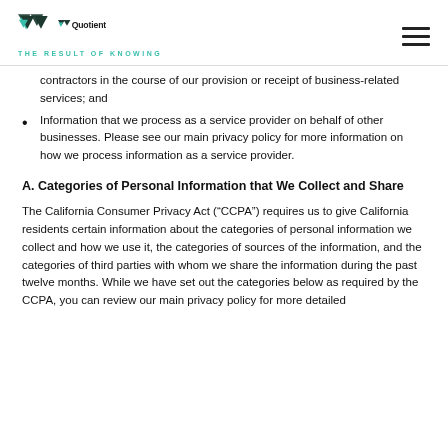[Figure (logo): Quotient logo with teal/dark chevron icon and tagline 'THE RESULT OF KNOWING']
contractors in the course of our provision or receipt of business-related services; and
Information that we process as a service provider on behalf of other businesses. Please see our main privacy policy for more information on how we process information as a service provider.
A. Categories of Personal Information that We Collect and Share
The California Consumer Privacy Act (“CCPA”) requires us to give California residents certain information about the categories of personal information we collect and how we use it, the categories of sources of the information, and the categories of third parties with whom we share the information during the past twelve months. While we have set out the categories below as required by the CCPA, you can review our main privacy policy for more detailed